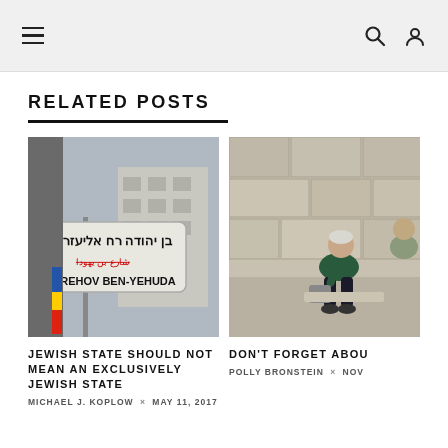≡  🔍  👤
RELATED POSTS
[Figure (photo): Street sign in Jerusalem showing 'Rehov Ben-Yehuda' in Hebrew and English with Arabic text crossed out in red]
JEWISH STATE SHOULD NOT MEAN AN EXCLUSIVELY JEWISH STATE
MICHAEL J. KOPLOW  ×  MAY 11, 2017
[Figure (photo): Elderly person sitting on stone steps, leaning forward, outdoors against a stone wall]
DON'T FORGET ABOU
POLLY BRONSTEIN  ×  NOV